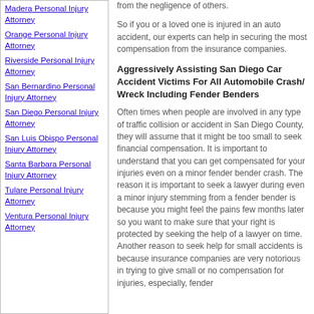Madera Personal Injury Attorney
Orange Personal Injury Attorney
Riverside Personal Injury Attorney
San Bernardino Personal Injury Attorney
San Diego Personal Injury Attorney
San Luis Obispo Personal Injury Attorney
Santa Barbara Personal Injury Attorney
Tulare Personal Injury Attorney
Ventura Personal Injury Attorney
from the negligence of others.
So if you or a loved one is injured in an auto accident, our experts can help in securing the most compensation from the insurance companies.
Aggressively Assisting San Diego Car Accident Victims For All Automobile Crash/ Wreck Including Fender Benders
Often times when people are involved in any type of traffic collision or accident in San Diego County, they will assume that it might be too small to seek financial compensation. It is important to understand that you can get compensated for your injuries even on a minor fender bender crash. The reason it is important to seek a lawyer during even a minor injury stemming from a fender bender is because you might feel the pains few months later so you want to make sure that your right is protected by seeking the help of a lawyer on time. Another reason to seek help for small accidents is because insurance companies are very notorious in trying to give small or no compensation for injuries, especially, fender